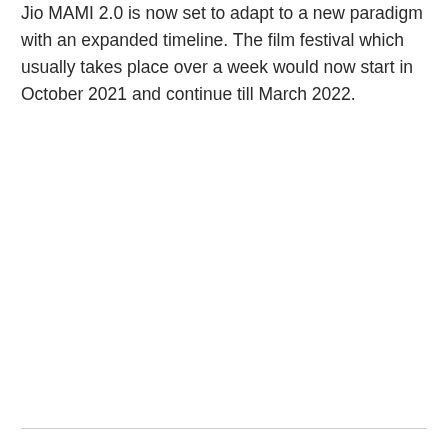Jio MAMI 2.0 is now set to adapt to a new paradigm with an expanded timeline. The film festival which usually takes place over a week would now start in October 2021 and continue till March 2022.